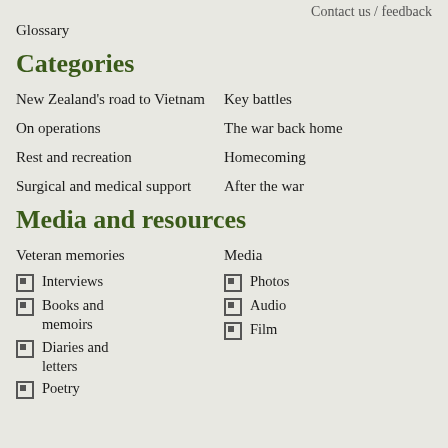Contact us / feedback
Glossary
Categories
New Zealand's road to Vietnam
Key battles
On operations
The war back home
Rest and recreation
Homecoming
Surgical and medical support
After the war
Media and resources
Veteran memories
Interviews
Books and memoirs
Diaries and letters
Poetry
Media
Photos
Audio
Film